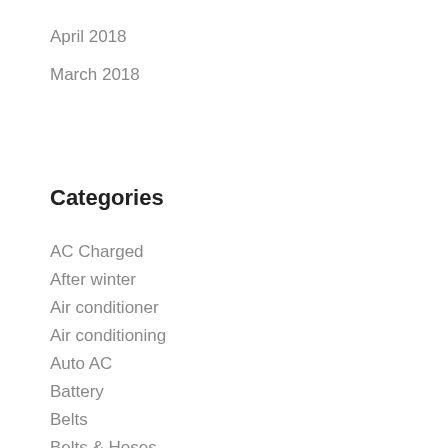April 2018
March 2018
Categories
AC Charged
After winter
Air conditioner
Air conditioning
Auto AC
Battery
Belts
Belts & Hoses
Boat trailer
Brake
Brake issues